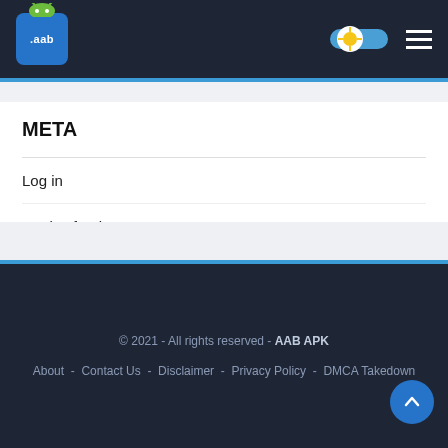AAB APK website header with logo and navigation
META
Log in
Entries feed
Comments feed
WordPress.org
© 2021 - All rights reserved - AAB APK | About - Contact Us - Disclaimer - Privacy Policy - DMCA Takedown